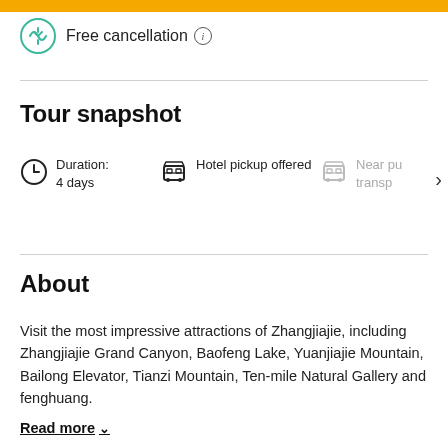Free cancellation (i)
Tour snapshot
Duration: 4 days
Hotel pickup offered
Nearby public transport
About
Visit the most impressive attractions of Zhangjiajie, including Zhangjiajie Grand Canyon, Baofeng Lake, Yuanjiajie Mountain, Bailong Elevator, Tianzi Mountain, Ten-mile Natural Gallery and fenghuang.
Read more